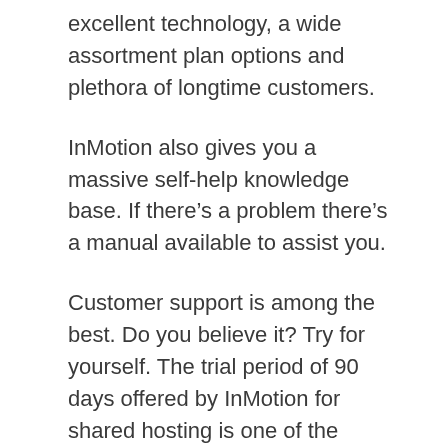excellent technology, a wide assortment plan options and plethora of longtime customers.
InMotion also gives you a massive self-help knowledge base. If there’s a problem there’s a manual available to assist you.
Customer support is among the best. Do you believe it? Try for yourself. The trial period of 90 days offered by InMotion for shared hosting is one of the longest around and gives you plenty of time to experience InMotion’s support team.
InMotion’s plans are really straightforward and almost identical. As you upgrade, you’ll get faster